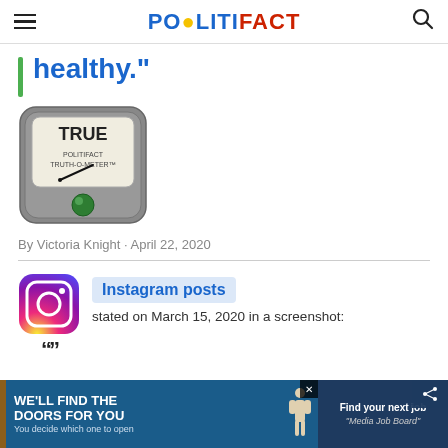POLITIFACT
healthy."
[Figure (illustration): PolitiFact Truth-O-Meter gauge showing TRUE rating with green indicator light]
By Victoria Knight • April 22, 2020
Instagram posts
stated on March 15, 2020 in a screenshot:
[Figure (advertisement): WE'LL FIND THE DOORS FOR YOU - You decide which one to open. Find your next job - Media Job Board]